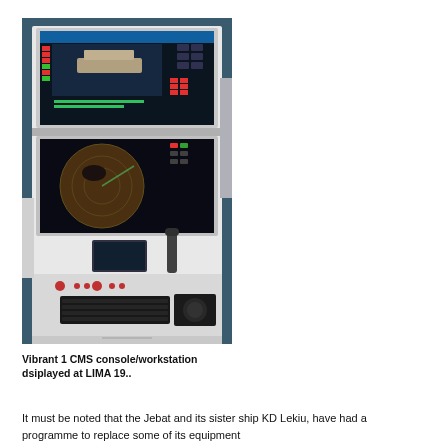[Figure (photo): Photo of a Vibrant 1 CMS console/workstation — a white metal cabinet with two large monitors showing ship navigation and radar displays, a smaller screen, keyboard, trackball, joystick, and control buttons.]
Vibrant 1 CMS console/workstation dsiplayed at LIMA 19..
It must be noted that the Jebat and its sister ship KD Lekiu, have had a programme to replace some of its equipment